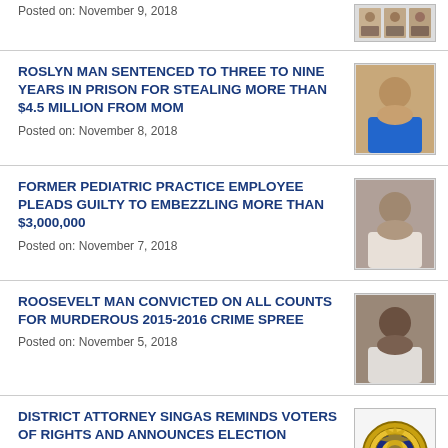Posted on: November 9, 2018
[Figure (photo): Mugshot photos (partial, top of page)]
ROSLYN MAN SENTENCED TO THREE TO NINE YEARS IN PRISON FOR STEALING MORE THAN $4.5 MILLION FROM MOM
Posted on: November 8, 2018
[Figure (photo): Mugshot of a man in blue shirt]
FORMER PEDIATRIC PRACTICE EMPLOYEE PLEADS GUILTY TO EMBEZZLING MORE THAN $3,000,000
Posted on: November 7, 2018
[Figure (photo): Mugshot of a man in white shirt]
ROOSEVELT MAN CONVICTED ON ALL COUNTS FOR MURDEROUS 2015-2016 CRIME SPREE
Posted on: November 5, 2018
[Figure (photo): Mugshot of a young man]
DISTRICT ATTORNEY SINGAS REMINDS VOTERS OF RIGHTS AND ANNOUNCES ELECTION PROTECTION PROGRAM
Posted on: November 5, 2018
[Figure (logo): Nassau County District Attorney badge/seal]